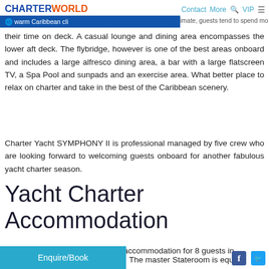CHARTERWORLD | Contact | More | VIP
their time on deck. A casual lounge and dining area encompasses the lower aft deck. The flybridge, however is one of the best areas onboard and includes a large alfresco dining area, a bar with a large flatscreen TV, a Spa Pool and sunpads and an exercise area. What better place to relax on charter and take in the best of the Caribbean scenery.
Charter Yacht SYMPHONY II is professional managed by five crew who are looking forward to welcoming guests onboard for another fabulous yacht charter season.
Yacht Charter Accommodation
Luxury yacht SYMPHONY II has accommodation for 8 guests in The master Stateroom is equipp